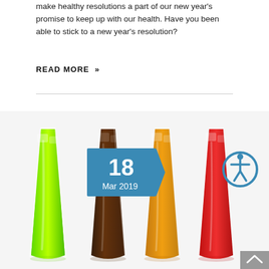make healthy resolutions a part of our new year's promise to keep up with our health. Have you been able to stick to a new year's resolution?
READ MORE »
[Figure (photo): Four tall glasses filled with colorful iced drinks: green, dark brown (cola), orange, and red, photographed against a white background. A date badge showing '18 Mar 2019' in teal/blue is overlaid at top-left, and an accessibility icon (wheelchair figure in circle) is at top-right.]